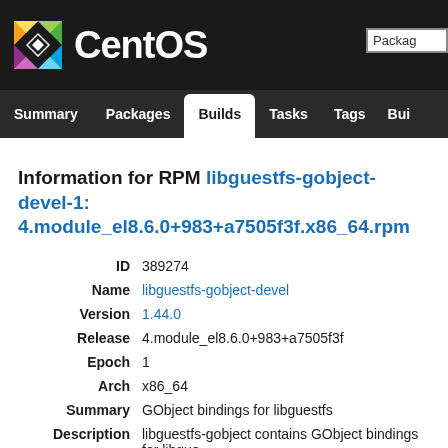CentOS
Summary | Packages | Builds | Tasks | Tags | Bui...
Information for RPM libguestfs-gobject-devel-1:4.module_el8.6.0+983+a7505f3f.x86_64.rpm
| Field | Value |
| --- | --- |
| ID | 389274 |
| Name | libguestfs-gobject-devel |
| Version | 1.44.0 |
| Release | 4.module_el8.6.0+983+a7505f3f |
| Epoch | 1 |
| Arch | x86_64 |
| Summary | GObject bindings for libguestfs |
| Description | libguestfs-gobject contains GObject bindings for libgue... software using the GObject bindings. It also contains G... |
| Build Time | ... |